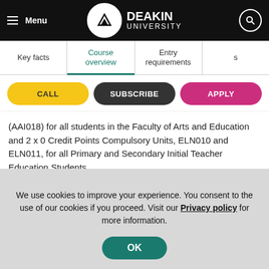[Figure (screenshot): Deakin University website header with black navigation bar showing menu icon, Deakin University logo, and search icon]
Key facts | Course overview | Entry requirements | s
[Figure (screenshot): Three action buttons: CALL (yellow), SUBSCRIBE (dark), APPLY (pink/magenta)]
(AAI018) for all students in the Faculty of Arts and Education and 2 x 0 Credit Points Compulsory Units, ELN010 and ELN011, for all Primary and Secondary Initial Teacher Education Students.

This course includes 90-days of supervised professional
We use cookies to improve your experience. You consent to the use of our cookies if you proceed. Visit our Privacy policy for more information.